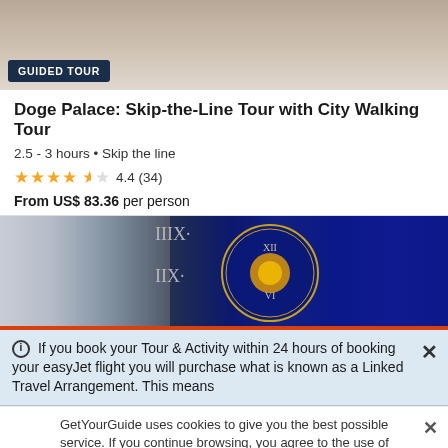[Figure (photo): Top portion of a travel/tourism photo showing a scene at what appears to be a plaza or square with people, partially cropped]
GUIDED TOUR
Doge Palace: Skip-the-Line Tour with City Walking Tour
2.5 - 3 hours • Skip the line
★★★★½ 4.4 (34)
From US$ 83.36 per person
[Figure (photo): Photo of a decorative astronomical/zodiac clock with blue and gold details, showing Roman numerals and celestial motifs]
If you book your Tour & Activity within 24 hours of booking your easyJet flight you will purchase what is known as a Linked Travel Arrangement. This means
GetYourGuide uses cookies to give you the best possible service. If you continue browsing, you agree to the use of cookies. More details can be found in our privacy policy.